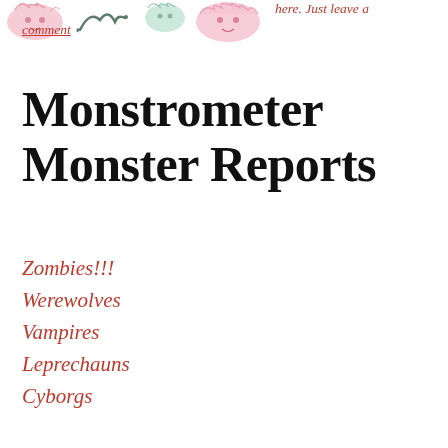[Figure (illustration): Decorative monster/creature illustrations in pink and mint colors at the top of the page]
here. Just leave a comment
Monstrometer Monster Reports
Zombies!!!
Werewolves
Vampires
Leprechauns
Cyborgs
Cannibals
Demons
Aliens
Psychos